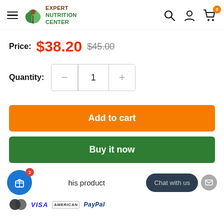Expert Nutrition Center — navigation header with hamburger menu, logo, search, account, and cart icons
Price: $38.20  $45.00
Quantity: — 1 +
Add to cart
Buy it now
his product
Chat with us